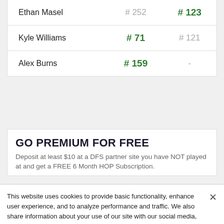|  | Col1 | Col2 |
| --- | --- | --- |
| Ethan Masel | # 252 | # 123 |
| Kyle Williams | # 71 | # 121 |
| Alex Burns | # 159 | - |
GO PREMIUM FOR FREE
Deposit at least $10 at a DFS partner site you have NOT played at and get a FREE 6 Month HOP Subscription.
This website uses cookies to provide basic functionality, enhance user experience, and to analyze performance and traffic. We also share information about your use of our site with our social media, advertising, and analytics partners.
By using this website you agree to our Terms of Use.
Do Not Sell My Personal Information
Accept Cookies